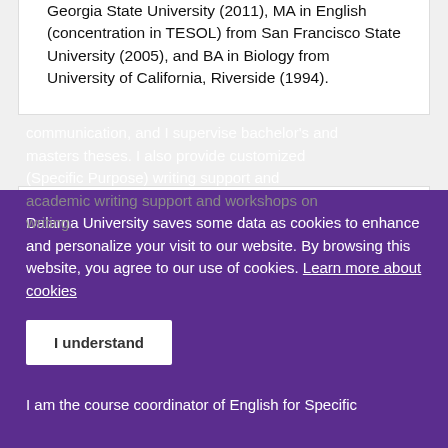Georgia State University (2011), MA in English (concentration in TESOL) from San Francisco State University (2005), and BA in Biology from University of California, Riverside (1994).
Teaching
At Dalarna University, I teach courses in English linguistics and academic and professional communication, and I supervise bachelors and masters theses. I also provide customized (Specific Purpose) writing support and academic writing support and workshops on writing.
I am the course coordinator of English for Specific
Dalarna University saves some data as cookies to enhance and personalize your visit to our website. By browsing this website, you agree to our use of cookies. Learn more about cookies